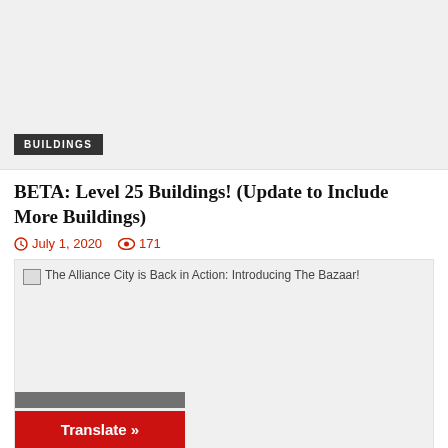[Figure (photo): Light gray placeholder image box for a Buildings-category article]
BUILDINGS
BETA: Level 25 Buildings! (Update to Include More Buildings)
July 1, 2020   171
[Figure (photo): Broken/unloaded image for article 'The Alliance City is Back in Action: Introducing The Bazaar!']
The Alliance City is Back in Action: Introducing The Bazaar!
Translate »
Game of War Remain in the Alliance City (Live!)